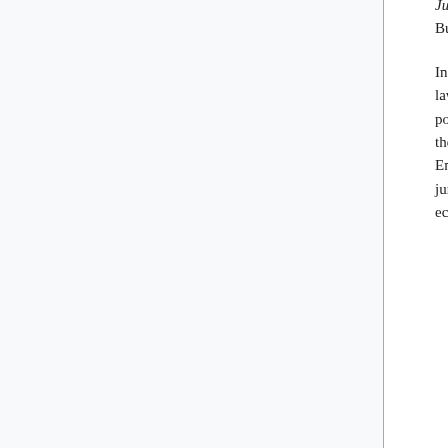Justice of the Peace became the standard in its field, passing through fifteen editions in Burn's lifetime.[3]
In Ecclesiastical Law, Burns attempted to categorize and explain elements of ecclesiastical law that had been previously muddy and undefined.[4] It was of equal merit and nearly as popular as his Justice of the Peace. "In the preface the author gives a sketch of the history of the civil and canon law, and short accounts of the position of the ecclesiastical law in England after the Restoration, of the common and statute law, and of that part of the jurisdiction of the court of Chancery which was exercised by it concurrently with the ecclesiastical courts."[5] The ninth and final edition of Ecclesiastical Law was